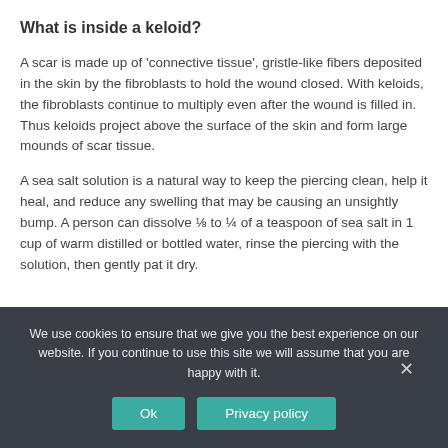What is inside a keloid?
A scar is made up of 'connective tissue', gristle-like fibers deposited in the skin by the fibroblasts to hold the wound closed. With keloids, the fibroblasts continue to multiply even after the wound is filled in. Thus keloids project above the surface of the skin and form large mounds of scar tissue.
A sea salt solution is a natural way to keep the piercing clean, help it heal, and reduce any swelling that may be causing an unsightly bump. A person can dissolve ⅛ to ¼ of a teaspoon of sea salt in 1 cup of warm distilled or bottled water, rinse the piercing with the solution, then gently pat it dry.
We use cookies to ensure that we give you the best experience on our website. If you continue to use this site we will assume that you are happy with it.